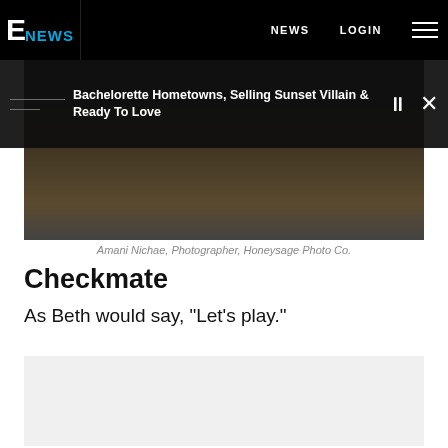E NEWS  NEWS  LOGIN
[Figure (screenshot): Dark banner overlay showing text: Bachelorette Hometowns, Selling Sunset Villain & Ready To Love with pause and close controls]
[Figure (photo): Photo area showing partial image (blurred/dark)]
Amani Nichae, Photographer, Honeysage Photo Co.
Checkmate
As Beth would say, "Let's play."
[Figure (photo): Light gray placeholder image area]